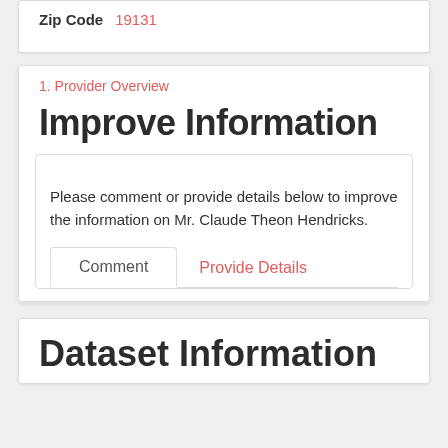Zip Code   19131
1. Provider Overview
Improve Information
Please comment or provide details below to improve the information on Mr. Claude Theon Hendricks.
Comment   Provide Details
Dataset Information